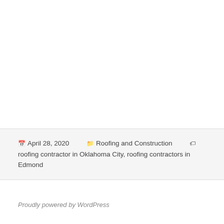April 28, 2020   Roofing and Construction   roofing contractor in Oklahoma City, roofing contractors in Edmond
Proudly powered by WordPress